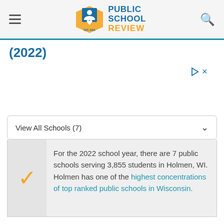[Figure (logo): Public School Review logo with EST. 2003 shield icon, blue and orange text]
(2022)
[Figure (other): Advertisement area with play and close icons]
View All Schools (7)
For the 2022 school year, there are 7 public schools serving 3,855 students in Holmen, WI. Holmen has one of the highest concentrations of top ranked public schools in Wisconsin.